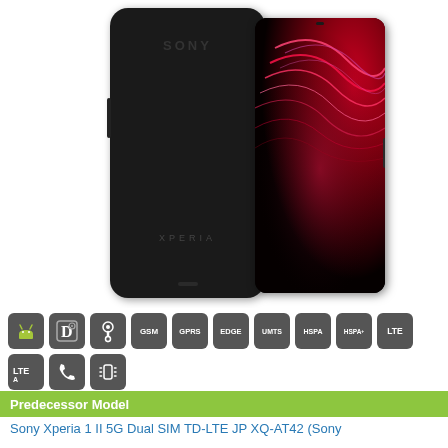[Figure (photo): Sony Xperia 1 III smartphone shown from back (matte black with SONY and XPERIA branding) and front (vivid red/pink wave pattern on screen), side by side]
[Figure (infographic): Technology badges row: Android, DLNA, audio jack, GSM, GPRS, EDGE, UMTS, HSPA, HSPA+, LTE, LTE-A, phone call, vibration/NFC icons]
Predecessor Model
Sony Xperia 1 II 5G Dual SIM TD-LTE JP XQ-AT42 (Sony